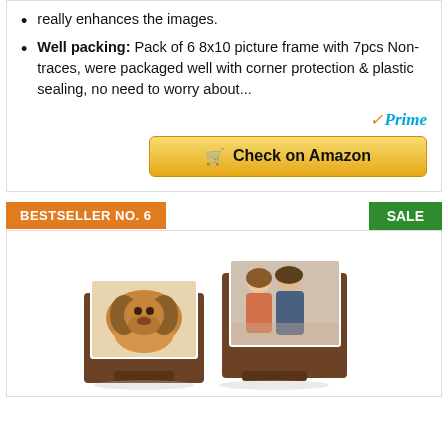really enhances the images.
Well packing: Pack of 6 8x10 picture frame with 7pcs Non-traces, were packaged well with corner protection & plastic sealing, no need to worry about...
[Figure (logo): Amazon Prime logo with checkmark]
[Figure (other): Check on Amazon button (gold/yellow rounded rectangle with shopping cart icon)]
BESTSELLER NO. 6
SALE
[Figure (photo): Two wooden picture frames displaying a dog photo and a couple photo]